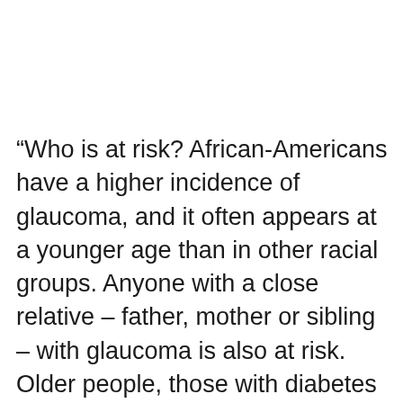“Who is at risk? African-Americans have a higher incidence of glaucoma, and it often appears at a younger age than in other racial groups. Anyone with a close relative – father, mother or sibling – with glaucoma is also at risk. Older people, those with diabetes and people who have had a serious eye injury are considered at risk as well,” says Dr. Huynh. “Anyone who falls into these groups should call us or their Eye M.D. to have their eyes examined. Although glaucoma cannot be cured, early detection and treatment can usually preserve vision.”